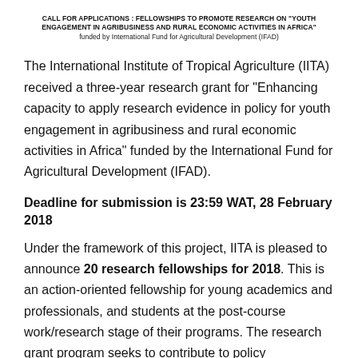CALL FOR APPLICATIONS : FELLOWSHIPS TO PROMOTE RESEARCH ON "YOUTH ENGAGEMENT IN AGRIBUSINESS AND RURAL ECONOMIC ACTIVITIES IN AFRICA" funded by International Fund for Agricultural Development (IFAD)
The International Institute of Tropical Agriculture (IITA) received a three-year research grant for “Enhancing capacity to apply research evidence in policy for youth engagement in agribusiness and rural economic activities in Africa” funded by the International Fund for Agricultural Development (IFAD).
Deadline for submission is 23:59 WAT, 28 February 2018
Under the framework of this project, IITA is pleased to announce 20 research fellowships for 2018. This is an action-oriented fellowship for young academics and professionals, and students at the post-course work/research stage of their programs. The research grant program seeks to contribute to policy...